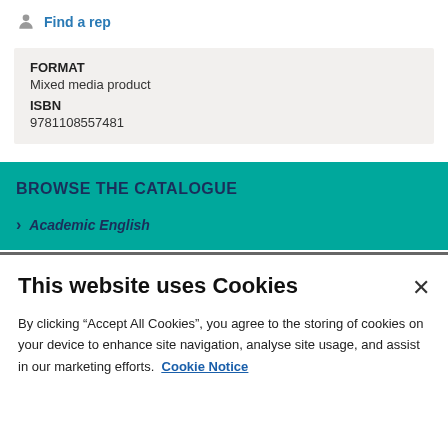Find a rep
FORMAT
Mixed media product
ISBN
9781108557481
BROWSE THE CATALOGUE
Academic English
This website uses Cookies
By clicking “Accept All Cookies”, you agree to the storing of cookies on your device to enhance site navigation, analyse site usage, and assist in our marketing efforts. Cookie Notice